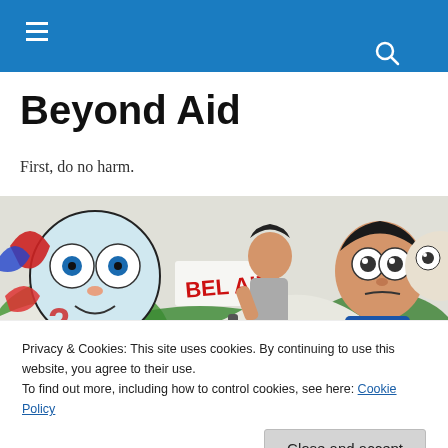Navigation bar with hamburger menu and search icon
Beyond Aid
First, do no harm.
[Figure (photo): Colorful street graffiti artwork featuring cartoon-style faces, the text 'BEL AIR' in red, and various vivid painted figures on a wall.]
Privacy & Cookies: This site uses cookies. By continuing to use this website, you agree to their use.
To find out more, including how to control cookies, see here: Cookie Policy
Close and accept